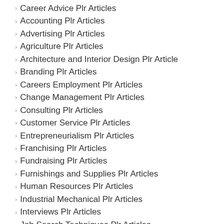Career Advice Plr Articles
Accounting Plr Articles
Advertising Plr Articles
Agriculture Plr Articles
Architecture and Interior Design Plr Article
Branding Plr Articles
Careers Employment Plr Articles
Change Management Plr Articles
Consulting Plr Articles
Customer Service Plr Articles
Entrepreneurialism Plr Articles
Franchising Plr Articles
Fundraising Plr Articles
Furnishings and Supplies Plr Articles
Human Resources Plr Articles
Industrial Mechanical Plr Articles
Interviews Plr Articles
Job Search Techniques Plr Articles
Management Plr Articles
Marketing Plr Articles
Networking Plr Articles
Non Profit Plr Articles
Outsourcing Plr Articles
PR Plr Articles
Productivity Plr Articles